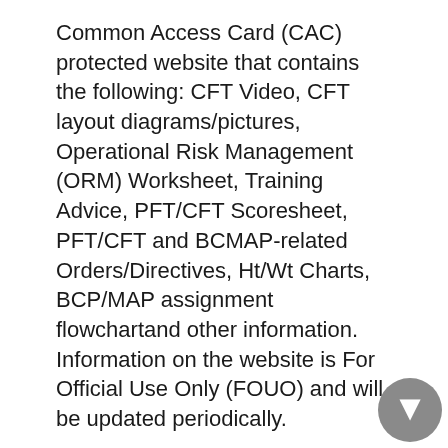Common Access Card (CAC) protected website that contains the following: CFT Video, CFT layout diagrams/pictures, Operational Risk Management (ORM) Worksheet, Training Advice, PFT/CFT Scoresheet, PFT/CFT and BCMAP-related Orders/Directives, Ht/Wt Charts, BCP/MAP assignment flowchartand other information. Information on the website is For Official Use Only (FOUO) and will be updated periodically.
Visit the Marine Corps Physical Fitness Program site for more information on the PFT and CFT.
Visit the Marine Corps Body Composition/Military Appearance Program site for more information on these programs.